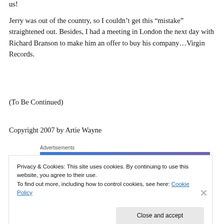us!
Jerry was out of the country, so I couldn’t get this “mistake” straightened out. Besides, I had a meeting in London the next day with Richard Branson to make him an offer to buy his company…Virgin Records.
(To Be Continued)
Copyright 2007 by Artie Wayne
[Figure (screenshot): Advertisement banner with blue-purple gradient background and text 'Simplified pricing for']
Privacy & Cookies: This site uses cookies. By continuing to use this website, you agree to their use.
To find out more, including how to control cookies, see here: Cookie Policy